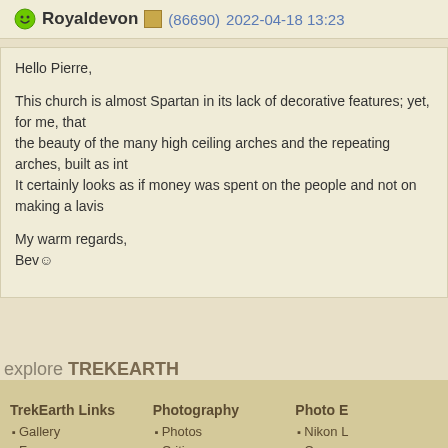Royaldevon (86690) 2022-04-18 13:23
Hello Pierre,

This church is almost Spartan in its lack of decorative features; yet, for me, that the beauty of the many high ceiling arches and the repeating arches, built as int It certainly looks as if money was spent on the people and not on making a lavis

My warm regards,
Bev☺
explore TREKEARTH
TrekEarth Links
Gallery
Forums
Members
About
RSS Feeds
Photography
Photos
Critiques
Themes
Categories
Workshops
Photo E
Nikon L
Canon
Canon
Nikon L
Panase
TREKLENS TR